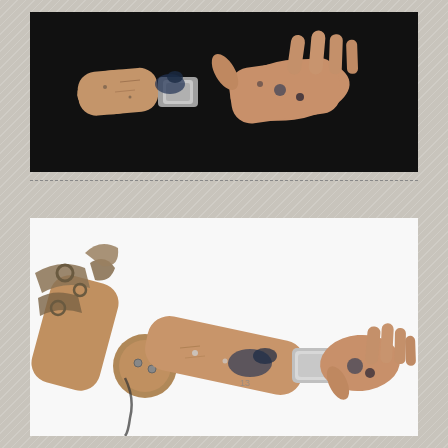[Figure (photo): Top-down view of a prosthetic arm and hand laid flat on a dark background. The prosthetic is skin-toned/beige colored with visible wear, black markings, and a silver/metallic wrist joint. The hand shows individual articulated fingers.]
[Figure (photo): Side angled view of a full prosthetic arm (upper arm to hand) on white background. The device is bent at the elbow, with a beige/tan colored shell, visible straps and harness near the shoulder attachment, metallic components at the wrist, and articulated fingers. Shows significant wear with dark spots and scratches.]